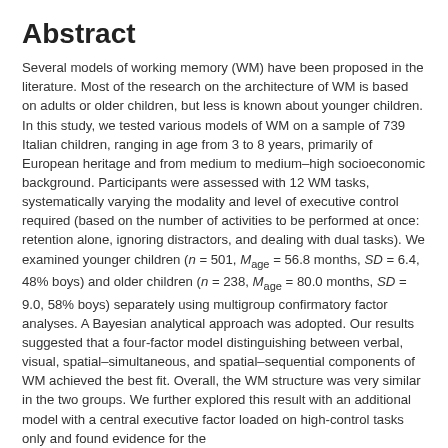Abstract
Several models of working memory (WM) have been proposed in the literature. Most of the research on the architecture of WM is based on adults or older children, but less is known about younger children. In this study, we tested various models of WM on a sample of 739 Italian children, ranging in age from 3 to 8 years, primarily of European heritage and from medium to medium–high socioeconomic background. Participants were assessed with 12 WM tasks, systematically varying the modality and level of executive control required (based on the number of activities to be performed at once: retention alone, ignoring distractors, and dealing with dual tasks). We examined younger children (n = 501, Mage = 56.8 months, SD = 6.4, 48% boys) and older children (n = 238, Mage = 80.0 months, SD = 9.0, 58% boys) separately using multigroup confirmatory factor analyses. A Bayesian analytical approach was adopted. Our results suggested that a four-factor model distinguishing between verbal, visual, spatial–simultaneous, and spatial–sequential components of WM achieved the best fit. Overall, the WM structure was very similar in the two groups. We further explored this result with an additional model with a central executive factor loaded on high-control tasks only and found evidence for the